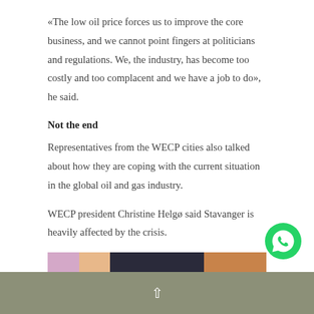«The low oil price forces us to improve the core business, and we cannot point fingers at politicians and regulations. We, the industry, has become too costly and too complacent and we have a job to do», he said.
Not the end
Representatives from the WECP cities also talked about how they are coping with the current situation in the global oil and gas industry.
WECP president Christine Helgø said Stavanger is heavily affected by the crisis.
[Figure (photo): Partial image strip showing faces of multiple people, cropped at bottom of page]
^